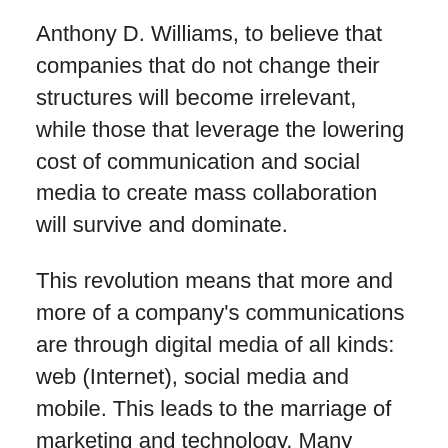Anthony D. Williams, to believe that companies that do not change their structures will become irrelevant, while those that leverage the lowering cost of communication and social media to create mass collaboration will survive and dominate.
This revolution means that more and more of a company's communications are through digital media of all kinds: web (Internet), social media and mobile. This leads to the marriage of marketing and technology. Many industry pundits predict that Marketing's slice of the technology budget will exceed that of traditional IT's in the next three to five years.
Goodwill Indy is no exception. Rarely am I